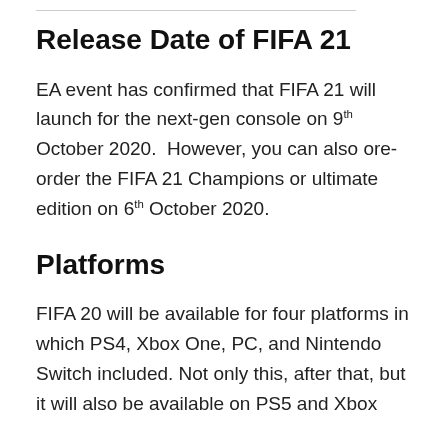Release Date of FIFA 21
EA event has confirmed that FIFA 21 will launch for the next-gen console on 9th October 2020.  However, you can also ore-order the FIFA 21 Champions or ultimate edition on 6th October 2020.
Platforms
FIFA 20 will be available for four platforms in which PS4, Xbox One, PC, and Nintendo Switch included. Not only this, after that, but it will also be available on PS5 and Xbox